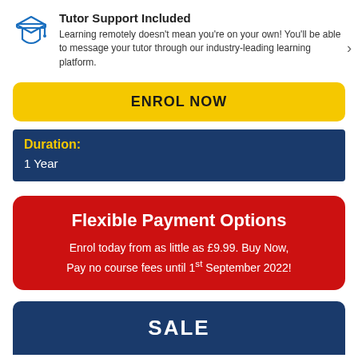Tutor Support Included
Learning remotely doesn't mean you're on your own! You'll be able to message your tutor through our industry-leading learning platform.
ENROL NOW
Duration:
1 Year
Flexible Payment Options
Enrol today from as little as £9.99. Buy Now, Pay no course fees until 1st September 2022!
SALE